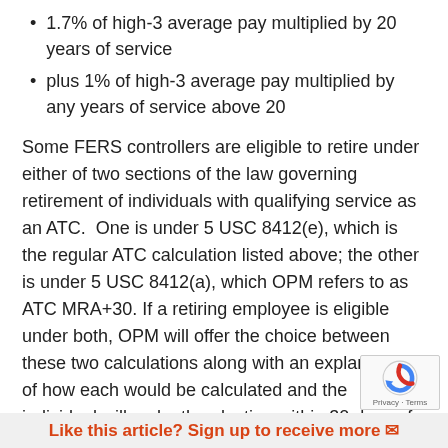1.7% of high-3 average pay multiplied by 20 years of service
plus 1% of high-3 average pay multiplied by any years of service above 20
Some FERS controllers are eligible to retire under either of two sections of the law governing retirement of individuals with qualifying service as an ATC.  One is under 5 USC 8412(e), which is the regular ATC calculation listed above; the other is under 5 USC 8412(a), which OPM refers to as ATC MRA+30. If a retiring employee is eligible under both, OPM will offer the choice between these two calculations along with an explanation of how each would be calculated and the individual will make the election within 30 days of receipt of the letter.  Once the retirement has been finalized, the election becomes irrevocable.
Like this article? Sign up to receive more ✉